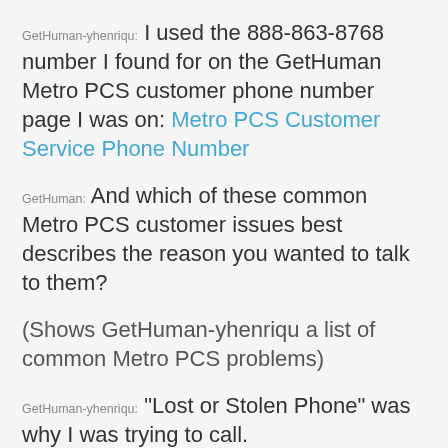GetHuman-yhenriqu: I used the 888-863-8768 number I found for on the GetHuman Metro PCS customer phone number page I was on: Metro PCS Customer Service Phone Number
GetHuman: And which of these common Metro PCS customer issues best describes the reason you wanted to talk to them?
(Shows GetHuman-yhenriqu a list of common Metro PCS problems)
GetHuman-yhenriqu: "Lost or Stolen Phone" was why I was trying to call.
GetHuman-yhenriqu's review of Metro PCS customer service
GetHuman: So how would you sum up your experience for GetHuman's Metro PCS customer community?